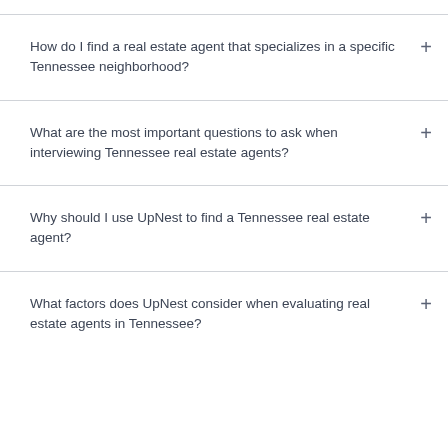How do I find a real estate agent that specializes in a specific Tennessee neighborhood?
What are the most important questions to ask when interviewing Tennessee real estate agents?
Why should I use UpNest to find a Tennessee real estate agent?
What factors does UpNest consider when evaluating real estate agents in Tennessee?